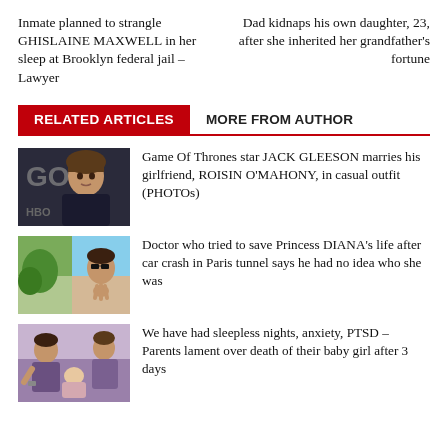Inmate planned to strangle GHISLAINE MAXWELL in her sleep at Brooklyn federal jail – Lawyer
Dad kidnaps his own daughter, 23, after she inherited her grandfather's fortune
RELATED ARTICLES   MORE FROM AUTHOR
[Figure (photo): Photo of Jack Gleeson, Game of Thrones actor]
Game Of Thrones star JACK GLEESON marries his girlfriend, ROISIN O'MAHONY, in casual outfit (PHOTOs)
[Figure (photo): Photo collage related to Princess Diana story]
Doctor who tried to save Princess DIANA's life after car crash in Paris tunnel says he had no idea who she was
[Figure (photo): Photo of parents with baby]
We have had sleepless nights, anxiety, PTSD – Parents lament over death of their baby girl after 3 days